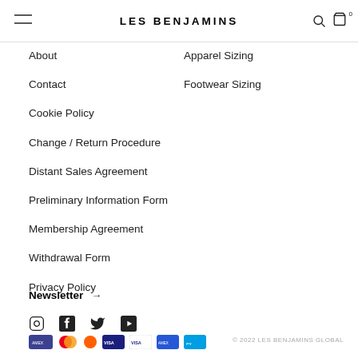LES BENJAMINS
About
Contact
Cookie Policy
Change / Return Procedure
Distant Sales Agreement
Preliminary Information Form
Membership Agreement
Withdrawal Form
Privacy Policy
Apparel Sizing
Footwear Sizing
Newsletter →
© 2022 LES BENJAMINS GLOBAL